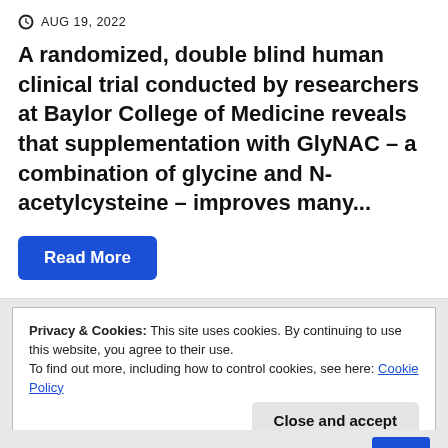AUG 19, 2022
A randomized, double blind human clinical trial conducted by researchers at Baylor College of Medicine reveals that supplementation with GlyNAC – a combination of glycine and N-acetylcysteine – improves many...
Read More
Privacy & Cookies: This site uses cookies. By continuing to use this website, you agree to their use.
To find out more, including how to control cookies, see here: Cookie Policy
Close and accept